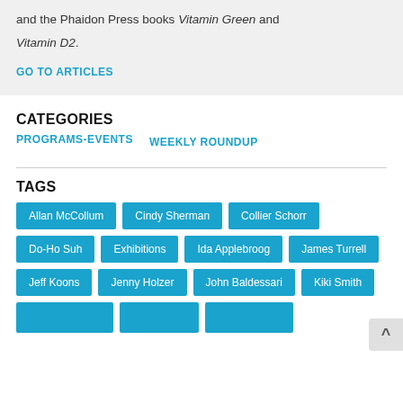and the Phaidon Press books Vitamin Green and Vitamin D2.
GO TO ARTICLES
CATEGORIES
PROGRAMS-EVENTS
WEEKLY ROUNDUP
TAGS
Allan McCollum
Cindy Sherman
Collier Schorr
Do-Ho Suh
Exhibitions
Ida Applebroog
James Turrell
Jeff Koons
Jenny Holzer
John Baldessari
Kiki Smith